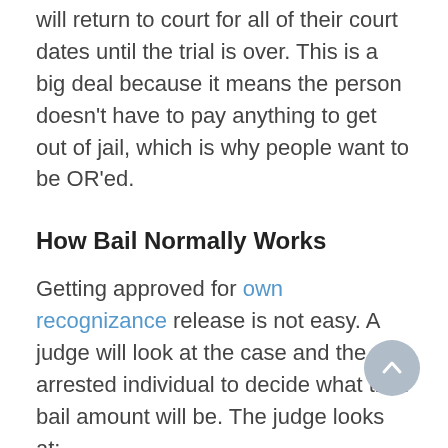will return to court for all of their court dates until the trial is over. This is a big deal because it means the person doesn't have to pay anything to get out of jail, which is why people want to be OR'ed.
How Bail Normally Works
Getting approved for own recognizance release is not easy. A judge will look at the case and the arrested individual to decide what their bail amount will be. The judge looks at:
The person's criminal record. The more crimes a person has committed in